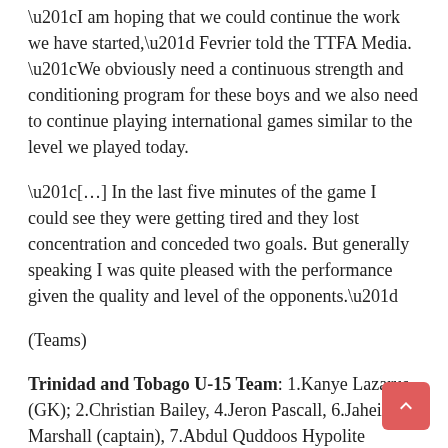“I am hoping that we could continue the work we have started,” Fevrier told the TTFA Media. “We obviously need a continuous strength and conditioning program for these boys and we also need to continue playing international games similar to the level we played today.
“[…] In the last five minutes of the game I could see they were getting tired and they lost concentration and conceded two goals. But generally speaking I was quite pleased with the performance given the quality and level of the opponents.”
(Teams)
Trinidad and Tobago U-15 Team: 1.Kanye Lazarus (GK); 2.Christian Bailey, 4.Jeron Pascall, 6.Jaheim Marshall (captain), 7.Abdul Quddoos Hypolite (10.Nathaniel James 42), 9.Ja-Shawn Thomas, 11.Josiah Wilson (16.Isaiah Thompson 48), 12.Triston Stafford, 13.Kassidy Davison,